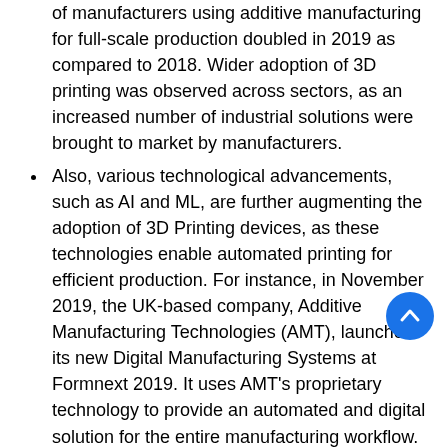of manufacturers using additive manufacturing for full-scale production doubled in 2019 as compared to 2018. Wider adoption of 3D printing was observed across sectors, as an increased number of industrial solutions were brought to market by manufacturers.
Also, various technological advancements, such as AI and ML, are further augmenting the adoption of 3D Printing devices, as these technologies enable automated printing for efficient production. For instance, in November 2019, the UK-based company, Additive Manufacturing Technologies (AMT), launched its new Digital Manufacturing Systems at Formnext 2019. It uses AMT's proprietary technology to provide an automated and digital solution for the entire manufacturing workflow.
Governments worldwide have already started investing in R&D on 3D printing, which has had a positive impact on technology propagation and adoption. For instance, the Dubai government spent an additional USD 150 million in 3D printing-related research and innovation.
However, as the technology advances, additive manufacturing may challenge the traditional forms of Intellectual Property